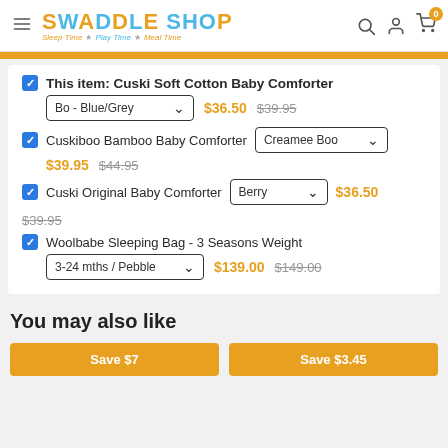Swaddle Shop — Sleep Time ★ Play Time ★ Meal Time
This item: Cuski Soft Cotton Baby Comforter — Bo - Blue/Grey — $36.50 (was $39.95)
Cuskiboo Bamboo Baby Comforter — Creamee Boo — $39.95 (was $44.95)
Cuski Original Baby Comforter — Berry — $36.50 (was $39.95)
Woolbabe Sleeping Bag - 3 Seasons Weight — 3-24 mths / Pebble — $139.00 (was $149.00)
You may also like
Save $7
Save $3.45